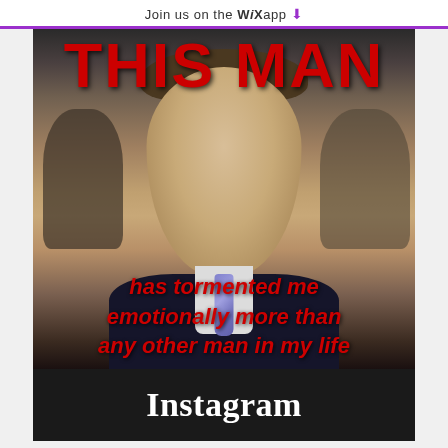Join us on the WiX app ↓
[Figure (photo): Meme image of a man in a suit with red bold text overlay. Top text: 'THIS MAN'. Bottom text: 'has tormented me emotionally more than any other man in my life']
Instagram